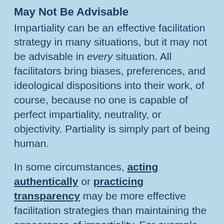May Not Be Advisable
Impartiality can be an effective facilitation strategy in many situations, but it may not be advisable in every situation. All facilitators bring biases, preferences, and ideological dispositions into their work, of course, because no one is capable of perfect impartiality, neutrality, or objectivity. Partiality is simply part of being human.
In some circumstances, acting authentically or practicing transparency may be more effective facilitation strategies than maintaining the appearance of impartiality. For example,